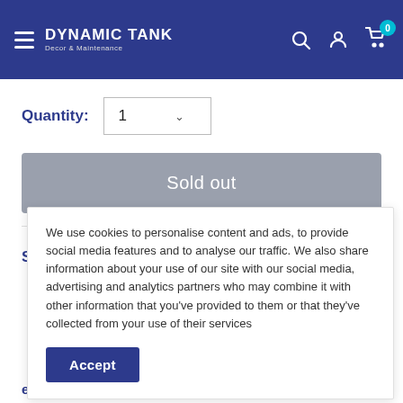Dynamic Tank Decor & Maintenance
Quantity: 1
Sold out
Share this product
We use cookies to personalise content and ads, to provide social media features and to analyse our traffic. We also share information about your use of our site with our social media, advertising and analytics partners who may combine it with other information that you've provided to them or that they've collected from your use of their services
Accept
exactly the right temperature – in any aquarium.